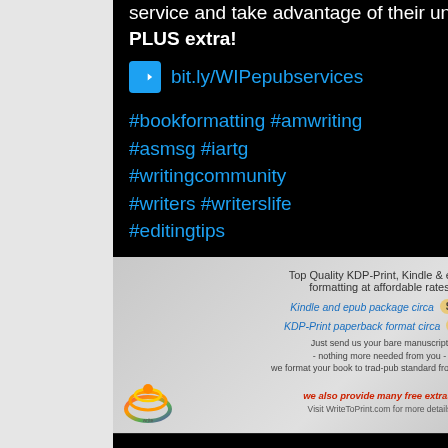service and take advantage of their unique FORMATTING PLUS extra!
➡ bit.ly/WIPepubservices
#bookformatting #amwriting #asmsg #iartg #writingcommunity #writers #writerslife #editingtips
[Figure (screenshot): Advertisement image for WriteToPrint.com showing KDP-Print, Kindle & epub formatting services with pricing: Kindle and epub package circa $59, KDP-Print paperback format circa $65. Includes rainbow logos on left and right.]
[Figure (other): Tweet action icons: comment bubble and heart/like icons]
Susanne Leist Retweeted
[Figure (photo): Partial profile avatar visible at bottom]